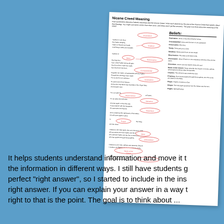[Figure (infographic): A worksheet titled 'Nicene Creed Meaning' showing a concept map connecting phrases from the Nicene Creed to Catholic theological beliefs. Left column has creed text with arrows pointing to oval labels (e.g., Incarnation, Consubstantial, Homoousios, Trinity, Salvation, Resurrection, Intercession, Ascension, Creation, Prophecy, Prayer, Unique, Angels). Right column lists definitions of beliefs. The paper is displayed at a slight angle on a blue background.]
It helps students understand information and move it to the information in different ways. I still have students g perfect "right answer", so I started to include in the ins right answer. If you can explain your answer in a way t right to that is the point. The goal is to think about ...